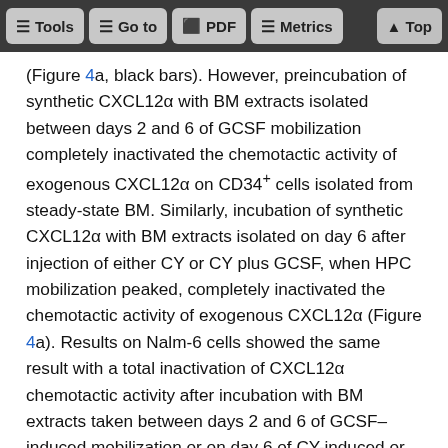Tools  Go to  PDF  Metrics  Top
(Figure 4a, black bars). However, preincubation of synthetic CXCL12α with BM extracts isolated between days 2 and 6 of GCSF mobilization completely inactivated the chemotactic activity of exogenous CXCL12α on CD34+ cells isolated from steady-state BM. Similarly, incubation of synthetic CXCL12α with BM extracts isolated on day 6 after injection of either CY or CY plus GCSF, when HPC mobilization peaked, completely inactivated the chemotactic activity of exogenous CXCL12α (Figure 4a). Results on Nalm-6 cells showed the same result with a total inactivation of CXCL12α chemotactic activity after incubation with BM extracts taken between days 2 and 6 of GCSF–induced mobilization or on day 6 of CY-induced or CY plus GCSF–induced mobilization (data not shown).